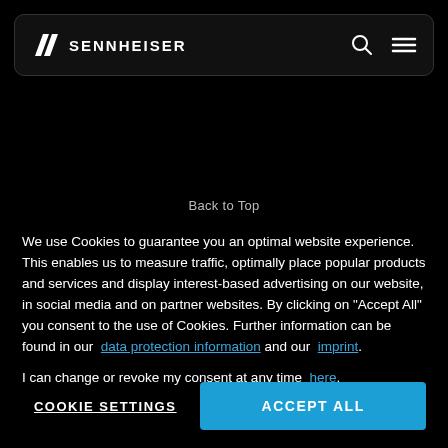SENNHEISER
Back to Top
We use Cookies to guarantee you an optimal website experience. This enables us to measure traffic, optimally place popular products and services and display interest-based advertising on our website, in social media and on partner websites. By clicking on "Accept All" you consent to the use of Cookies. Further information can be found in our data protection information and our imprint.
I can change or revoke my consent at any time here.
COOKIE SETTINGS
ACCEPT ALL